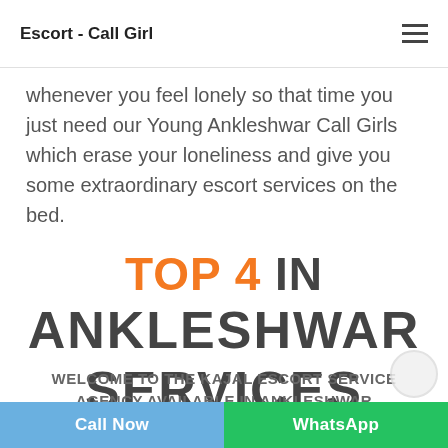Escort - Call Girl
whenever you feel lonely so that time you just need our Young Ankleshwar Call Girls which erase your loneliness and give you some extraordinary escort services on the bed.
TOP 4 IN ANKLESHWAR SERVICES
WELCOME TO THE KAJAL ESCORT SERVICE AGENCY AVAILABLE IN ANKLESHWAR
Call Now | WhatsApp